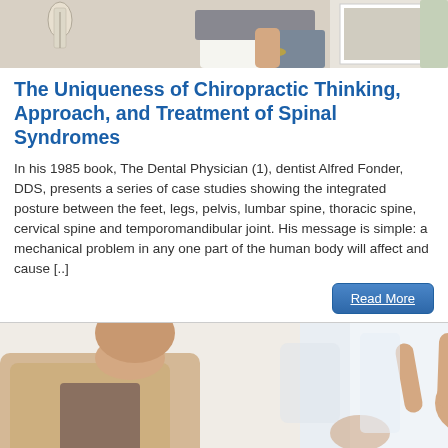[Figure (photo): Partial view of a woman in clinical/professional setting holding something, cropped at top of page]
The Uniqueness of Chiropractic Thinking, Approach, and Treatment of Spinal Syndromes
In his 1985 book, The Dental Physician (1), dentist Alfred Fonder, DDS, presents a series of case studies showing the integrated posture between the feet, legs, pelvis, lumbar spine, thoracic spine, cervical spine and temporomandibular joint. His message is simple: a mechanical problem in any one part of the human body will affect and cause [..]
[Figure (other): Read More button — blue rounded rectangle]
[Figure (photo): Partial view of a woman in a beige cardigan looking at her hands/fingers, bottom of page]